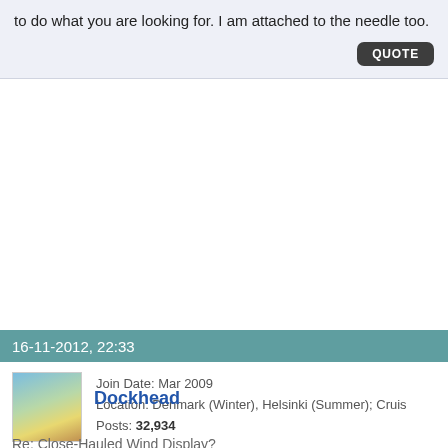to do what you are looking for. I am attached to the needle too.
QUOTE
16-11-2012, 22:33
Join Date: Mar 2009
Location: Denmark (Winter), Helsinki (Summer); Cruis
Posts: 32,934
Dockhead
Re: Close-Hauled Wind Display?